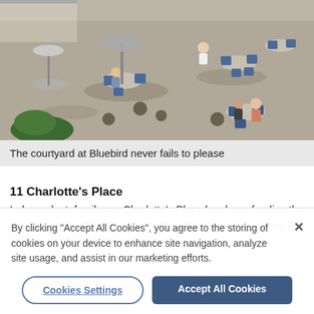[Figure (photo): Aerial/overhead view of a courtyard restaurant with tables, chairs, umbrellas, and diners eating outdoors on a sunny day. Stone/cobbled patio with round spherical decorations.]
The courtyard at Bluebird never fails to please
11 Charlotte's Place
Independent, family-run Charlotte's Place has been feeding the hungry hordes of Ealing since 1984. There's a good reason it's still successful in 2015, so if you d...
By clicking "Accept All Cookies", you agree to the storing of cookies on your device to enhance site navigation, analyze site usage, and assist in our marketing efforts.